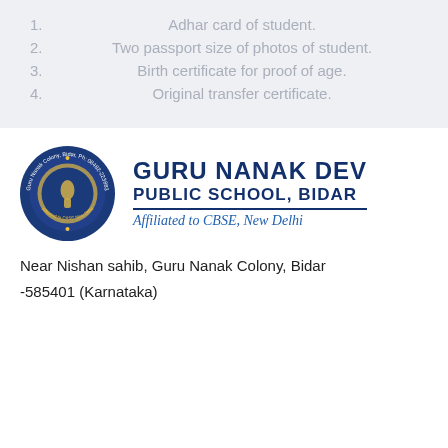1. Adhar card of student.
2. Two passport size of photos of student.
3. Birth certificate for proof of age.
4. Original transfer certificate.
[Figure (logo): Guru Nanak Dev Public School circular logo with navy blue background, text around the circle: Guru Nanak Colony, Bidar, Ph: 08482-223883, and CBSE New Delhi affiliation text at bottom.]
GURU NANAK DEV PUBLIC SCHOOL, BIDAR Affiliated to CBSE, New Delhi
Near Nishan sahib, Guru Nanak Colony, Bidar -585401 (Karnataka)